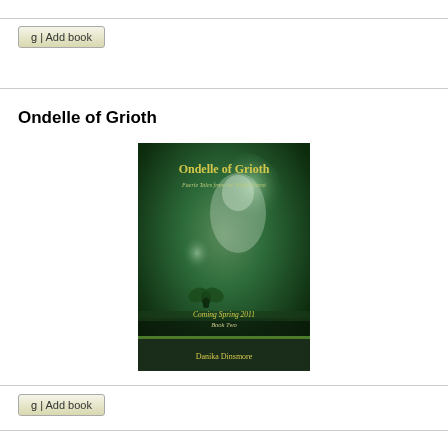[Figure (screenshot): Button labeled 'g | Add book' at top of page]
Ondelle of Grioth
[Figure (illustration): Book cover for 'Ondelle of Grioth' - Faerie Tales from the White Forest, Coming Spring 2011, Book Two, by Danika Dinsmore. Dark green atmospheric cover with fairy figure and misty background.]
[Figure (screenshot): Button labeled 'g | Add book' at bottom of page]